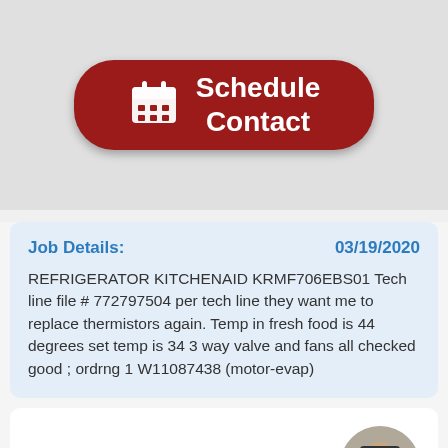[Figure (other): Dark red rounded button with a calendar icon and text 'Schedule Contact']
Job Details:    03/19/2020

REFRIGERATOR KITCHENAID KRMF706EBS01 Tech line file # 772797504 per tech line they want me to replace thermistors again. Temp in fresh food is 44 degrees set temp is 34 3 way valve and fans all checked good ; ordrng 1 W11087438 (motor-evap)
Near Los Angeles, CA